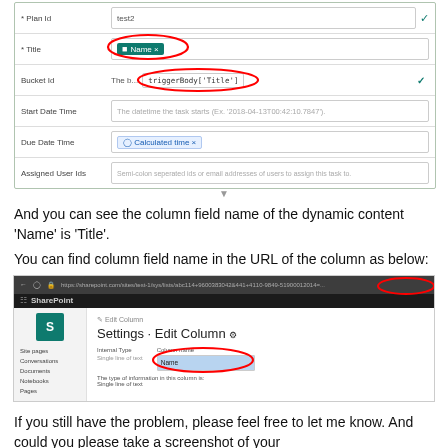[Figure (screenshot): Microsoft Power Automate form showing Plan Id, Title (with 'Name' chip circled in red), Bucket Id (with triggerBody['Title'] circled in red), Start Date Time, Due Date Time (Calculated time chip), and Assigned User Ids fields]
And you can see the column field name of the dynamic content ‘Name’ is ‘Title’.
You can find column field name in the URL of the column as below:
[Figure (screenshot): SharePoint Settings > Edit Column page showing a URL bar (with red circle around part of URL), SharePoint branding bar, sidebar with S logo and navigation items (Site pages, Conversations, Documents, Notebooks, Pages), and main content area showing 'Settings > Edit Column' heading with fields for Internal Type and Column name (highlighted in blue, circled in red), with description text below]
If you still have the problem, please feel free to let me know. And could you please take a screenshot of your